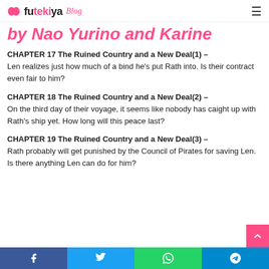futekiya Blog
by Nao Yurino and Karine
CHAPTER 17 The Ruined Country and a New Deal(1) – Len realizes just how much of a bind he's put Rath into. Is their contract even fair to him?
CHAPTER 18 The Ruined Country and a New Deal(2) – On the third day of their voyage, it seems like nobody has caight up with Rath's ship yet. How long will this peace last?
CHAPTER 19 The Ruined Country and a New Deal(3) – Rath probably will get punished by the Council of Pirates for saving Len. Is there anything Len can do for him?
Share buttons: Facebook, Twitter, WhatsApp, Telegram